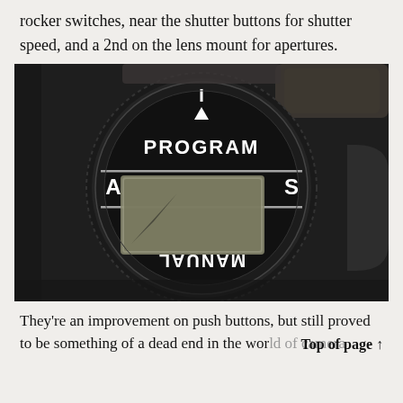rocker switches, near the shutter buttons for shutter speed, and a 2nd on the lens mount for apertures.
[Figure (photo): Close-up photograph of a camera mode dial showing PROGRAM at top, A (Aperture) on left, S (Shutter) on right, and MANUAL (upside down) at bottom, with an LCD display in the center. The dial has a serrated edge and is set against a black camera body.]
They're an improvement on push buttons, but still proved to be something of a dead end in the world of camera
Top of page ↑